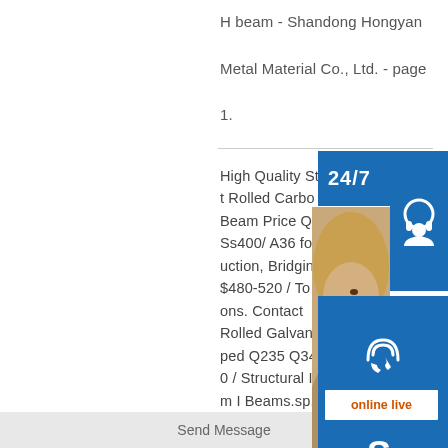H beam - Shandong Hongyan Metal Material Co., Ltd. - page 1.
High Quality Steel Rolled Carbon H Beam Price Q235 Ss400/ A36 for Construction, Bridging $480-520 / Tons. Contact Rolled Galvanized Steel H Shaped Q235 Q345b Q355b Ss400 / Structural Iron Steel H Beam I Beams.sp.info
Send Message